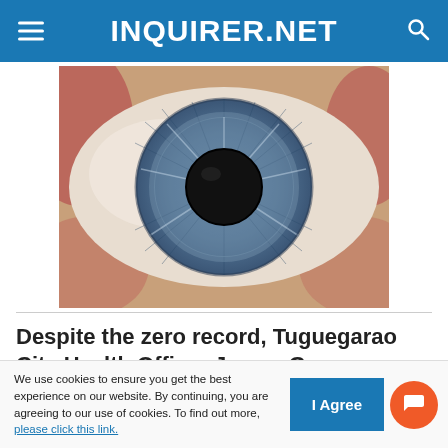INQUIRER.NET
[Figure (photo): Close-up macro photograph of a human eye showing a blue/grey iris with detailed texture and a dark pupil in the center, with reddish tissue visible at the edges.]
Despite the zero record, Tuguegarao City Health Officer James Guzman urged residents to continue
We use cookies to ensure you get the best experience on our website. By continuing, you are agreeing to our use of cookies. To find out more, please click this link.